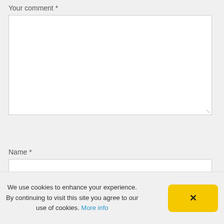Your comment *
Name *
E-mail *
We use cookies to enhance your experience. By continuing to visit this site you agree to our use of cookies. More info